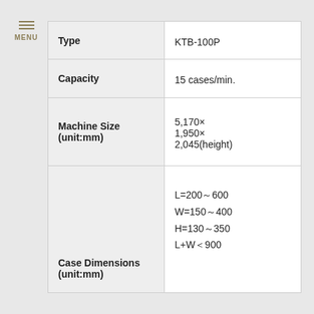| Property | Value |
| --- | --- |
| Type | KTB-100P |
| Capacity | 15 cases/min. |
| Machine Size (unit:mm) | 5,170×
1,950×
2,045(height) |
| Case Dimensions (unit:mm) | L=200～600
W=150～400
H=130～350
L+W＜900 |